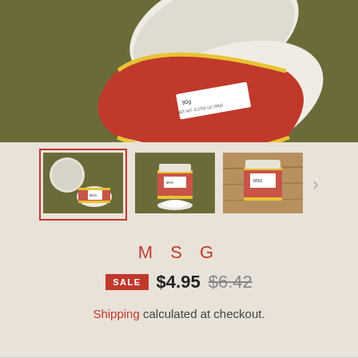[Figure (photo): Top-down view of a red and yellow labeled MSG jar with white lid on an olive/khaki background, partially out of frame]
[Figure (photo): Thumbnail 1 (selected): Open MSG jar with lid beside it on olive background]
[Figure (photo): Thumbnail 2: MSG jar with white powder spilled in front on olive background]
[Figure (photo): Thumbnail 3: MSG jar on wooden surface]
MSG
SALE $4.95 $6.42
Shipping calculated at checkout.